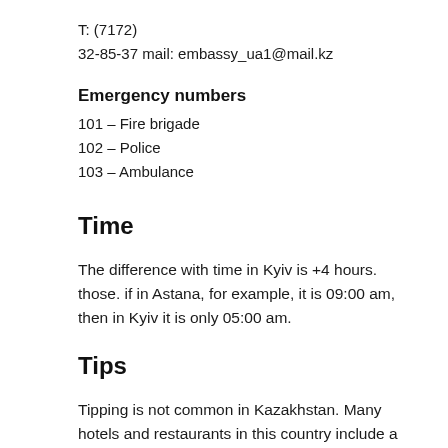T: (7172)
32-85-37 mail: embassy_ua1@mail.kz
Emergency numbers
101 – Fire brigade
102 – Police
103 – Ambulance
Time
The difference with time in Kyiv is +4 hours. those. if in Astana, for example, it is 09:00 am, then in Kyiv it is only 05:00 am.
Tips
Tipping is not common in Kazakhstan. Many hotels and restaurants in this country include a service charge on the bill.